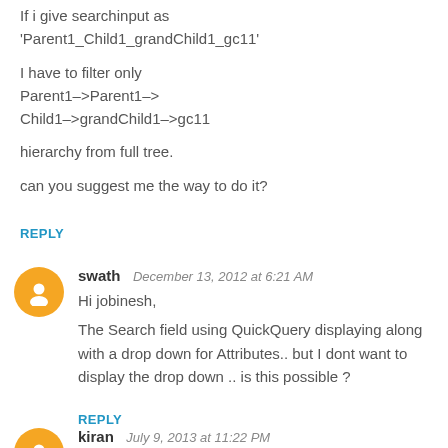If i give searchinput as 'Parent1_Child1_grandChild1_gc11'

I have to filter only Parent1–>Parent1–>Child1–>grandChild1–>gc11

hierarchy from full tree.

can you suggest me the way to do it?
REPLY
swath   December 13, 2012 at 6:21 AM
Hi jobinesh,

The Search field using QuickQuery displaying along with a drop down for Attributes.. but I dont want to display the drop down .. is this possible ?
REPLY
kiran   July 9, 2013 at 11:22 PM